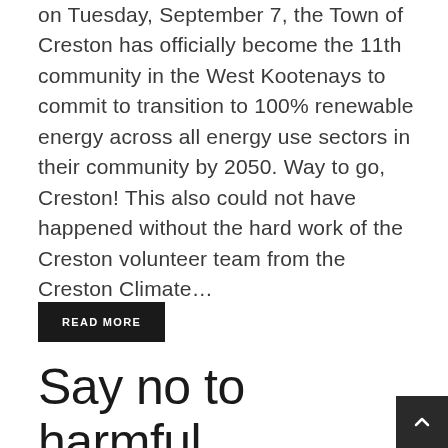on Tuesday, September 7, the Town of Creston has officially become the 11th community in the West Kootenays to commit to transition to 100% renewable energy across all energy use sectors in their community by 2050. Way to go, Creston! This also could not have happened without the hard work of the Creston volunteer team from the Creston Climate...
READ MORE
Say no to harmful development in Rossland